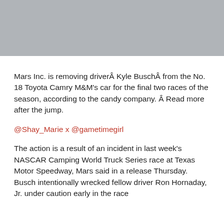[Figure (photo): Gray banner area at the top of the page, appears to be a placeholder or cropped image area]
Mars Inc. is removing driverÂ Kyle BuschÂ from the No. 18 Toyota Camry M&M’s car for the final two races of the season, according to the candy company. Â Read more after the jump.
@Shay_Marie x @gametimegirl
The action is a result of an incident in last week’s NASCAR Camping World Truck Series race at Texas Motor Speedway, Mars said in a release Thursday. Busch intentionally wrecked fellow driver Ron Hornaday, Jr. under caution early in the race